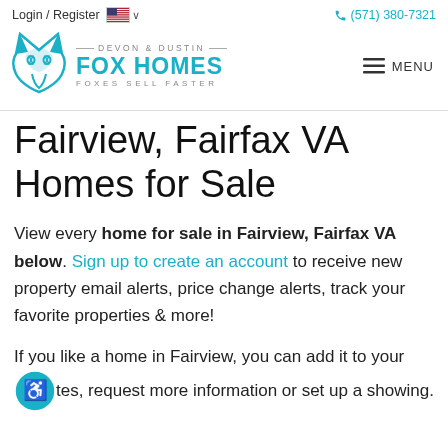Login / Register   🇺🇸 ∨   (571) 380-7321
[Figure (logo): Devon & Dustin Fox Homes logo with teal fox icon and text 'DEVON & DUSTIN FOX HOMES FOXES SELL FASTER', and MENU hamburger icon on the right]
Fairview, Fairfax VA Homes for Sale
View every home for sale in Fairview, Fairfax VA below. Sign up to create an account to receive new property email alerts, price change alerts, track your favorite properties & more!
If you like a home in Fairview, you can add it to your favorites, request more information or set up a showing.